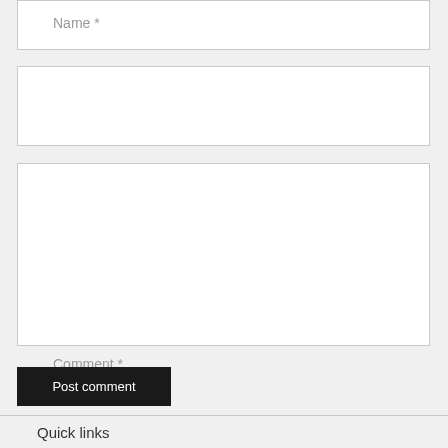Name *
Email *
Comment *
Post comment
Quick links